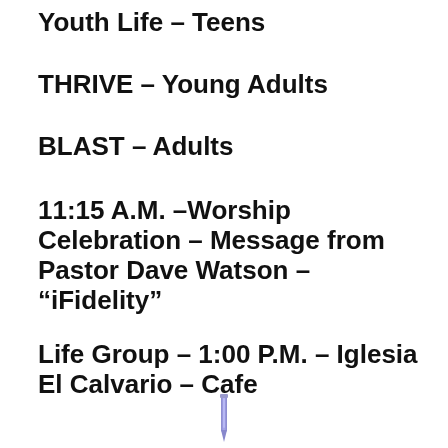Youth Life – Teens
THRIVE – Young Adults
BLAST – Adults
11:15 A.M. –Worship Celebration – Message from Pastor Dave Watson – “iFidelity”
Life Group – 1:00 P.M. – Iglesia El Calvario – Cafe
[Figure (illustration): Small blue/purple needle or syringe icon at the bottom center of the page]